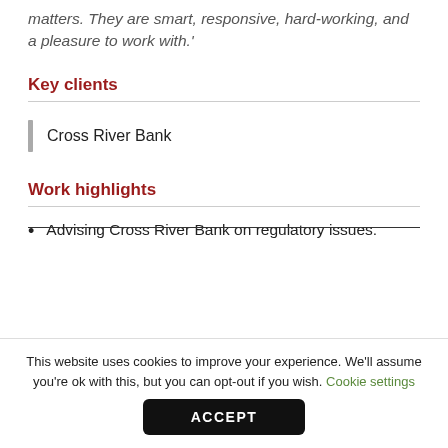matters. They are smart, responsive, hard-working, and a pleasure to work with.'
Key clients
Cross River Bank
Work highlights
Advising Cross River Bank on regulatory issues.
This website uses cookies to improve your experience. We'll assume you're ok with this, but you can opt-out if you wish. Cookie settings ACCEPT